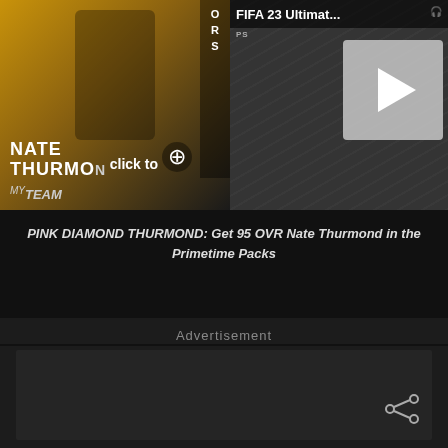[Figure (screenshot): Two video thumbnails side by side. Left: NBA 2K MyTeam card showing Nate Thurmond basketball player. Right: FIFA 23 Ultimate Team video with play button overlay.]
PINK DIAMOND THURMOND: Get 95 OVR Nate Thurmond in the Primetime Packs
Advertisement
[Figure (screenshot): Dark advertisement area with share icon in bottom right corner.]